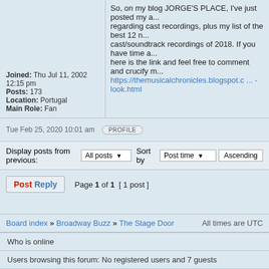So, on my blog JORGE'S PLACE, I've just posted my a... regarding cast recordings, plus my list of the best 12 n... cast/soundtrack recordings of 2018. If you have time a... here is the link and feel free to comment and crucify m...
https://themusicalchronicles.blogspot.c ... -look.html
Joined: Thu Jul 11, 2002 12:15 pm
Posts: 173
Location: Portugal
Main Role: Fan
Tue Feb 25, 2020 10:01 am
PROFILE
Display posts from previous:  All posts  Sort by  Post time  Ascending
Post Reply   Page 1 of 1  [ 1 post ]
Board index » Broadway Buzz » The Stage Door
All times are UTC
Who is online
Users browsing this forum: No registered users and 7 guests